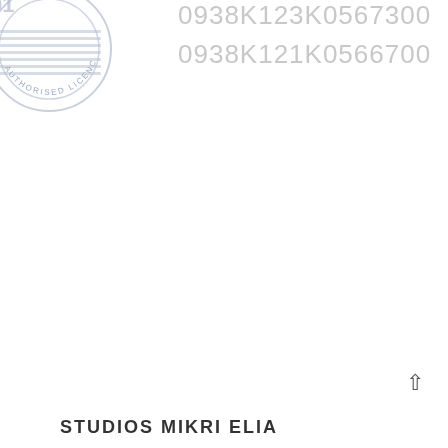[Figure (logo): Circular authorised licence stamp/seal with horizontal lines and text around the border reading AUTHORISED LICENCE, partially visible in top-left corner, light blue/grey color]
0938K123K0567300
0938K121K0566700
STUDIOS MIKRI ELIA